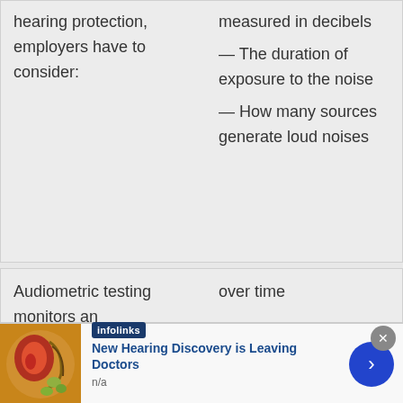hearing protection, employers have to consider:
measured in decibels
— The duration of exposure to the noise
— How many sources generate loud noises
Audiometric testing monitors an
over time